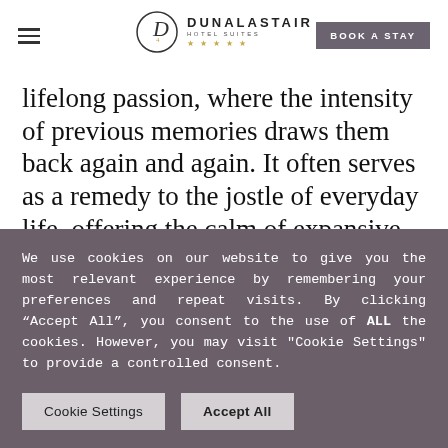Dunalastair Hotel Suites — BOOK A STAY
lifelong passion, where the intensity of previous memories draws them back again and again. It often serves as a remedy to the jostle of everyday life, offering the calm of expansive wilderness, simple natural beauty and a heartfelt welcome. With hassle-free access by air, train, or car Highla...
We use cookies on our website to give you the most relevant experience by remembering your preferences and repeat visits. By clicking “Accept All”, you consent to the use of ALL the cookies. However, you may visit "Cookie Settings" to provide a controlled consent.
Cookie Settings    Accept All